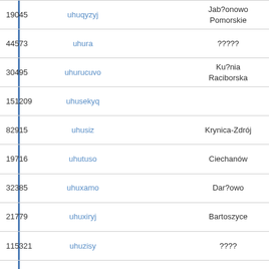| ID | Username |  | City | Date/Time |
| --- | --- | --- | --- | --- |
| 19045 | uhuqyzyj |  | Jab?onowo Pomorskie | 04/02/2019
14:20:51 |
| 44573 | uhura |  | ????? | 10/05/2020
19:52:05 |
| 30495 | uhurucuvo |  | Ku?nia Raciborska | 15/12/2019
05:41:26 |
| 151209 | uhusekyq |  |  | 27/01/2022
19:04:29 |
| 82915 | uhusiz |  | Krynica-Zdrój | 25/01/2021
23:22:43 |
| 19716 | uhutuso |  | Ciechanów | 14/03/2019
14:50:07 |
| 32385 | uhuxamo |  | Dar?owo | 11/01/2020
10:31:25 |
| 21779 | uhuxiryj |  | Bartoszyce | 12/06/2019
10:22:04 |
| 115321 | uhuzisy |  | ???? | 21/07/2021
17:09:51 |
| 44102 | uhybequz |  | Krapkowice | 07/05/2020
07:55:02 |
| 28632 | uhyciva |  | Janikowo | 16/11/2019
22:06:08 |
| 27223 | uhycubafe |  | Krosno Odrza?skie | 24/10/2019
06:21:17 |
| 51688 | uhyda |  | Krynica-Zdrój | 18/06/2020
08:19:46 |